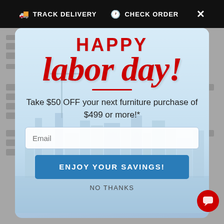TRACK DELIVERY   CHECK ORDER  ×
[Figure (screenshot): A Labor Day promotional popup modal over a furniture website background. The modal shows a city skyline background with 'HAPPY' in bold red, 'labor day!' in large red italic script, a red divider, offer text, an email input field, a blue 'ENJOY YOUR SAVINGS!' button, and 'NO THANKS' text link. A red chat bubble button appears in the lower right corner.]
HAPPY
labor day!
Take $50 OFF your next furniture purchase of $499 or more!*
Email
ENJOY YOUR SAVINGS!
NO THANKS